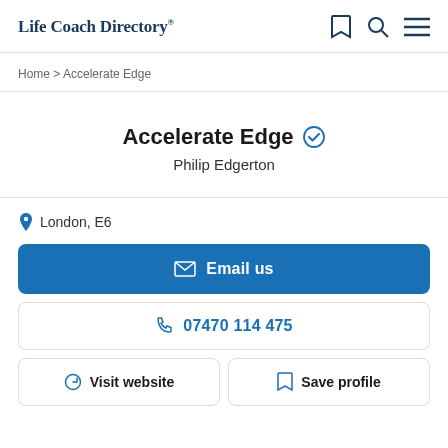Life Coach Directory
Home > Accelerate Edge
Accelerate Edge
Philip Edgerton
London, E6
Email us
07470 114 475
Visit website
Save profile